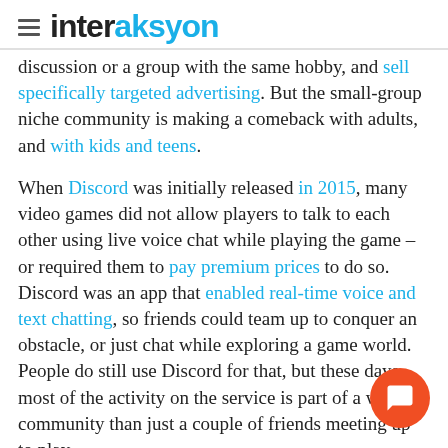interaksyon
discussion or a group with the same hobby, and sell specifically targeted advertising. But the small-group niche community is making a comeback with adults, and with kids and teens.
When Discord was initially released in 2015, many video games did not allow players to talk to each other using live voice chat while playing the game – or required them to pay premium prices to do so. Discord was an app that enabled real-time voice and text chatting, so friends could team up to conquer an obstacle, or just chat while exploring a game world. People do still use Discord for that, but these days most of the activity on the service is part of a wider community than just a couple of friends meeting up to play.